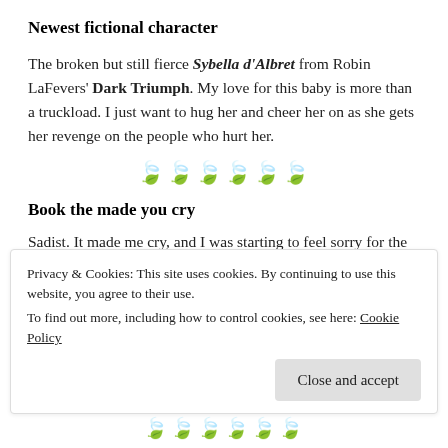Newest fictional character
The broken but still fierce Sybella d'Albret from Robin LaFevers' Dark Triumph. My love for this baby is more than a truckload. I just want to hug her and cheer her on as she gets her revenge on the people who hurt her.
[Figure (illustration): Six decorative orange leaf/floral divider icons]
Book the made you cry
Partial text (obscured by cookie banner)
Privacy & Cookies: This site uses cookies. By continuing to use this website, you agree to their use.
To find out more, including how to control cookies, see here: Cookie Policy
[Figure (illustration): Six decorative orange leaf/floral divider icons at bottom]